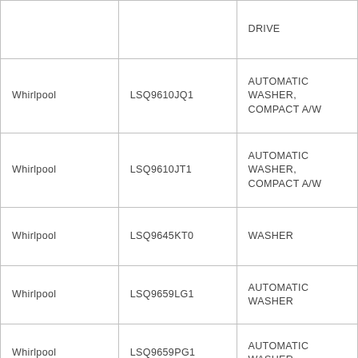|  |  | DRIVE |
| Whirlpool | LSQ9610JQ1 | AUTOMATIC WASHER, COMPACT A/W |
| Whirlpool | LSQ9610JT1 | AUTOMATIC WASHER, COMPACT A/W |
| Whirlpool | LSQ9645KT0 | WASHER |
| Whirlpool | LSQ9659LG1 | AUTOMATIC WASHER |
| Whirlpool | LSQ9659PG1 | AUTOMATIC WASHER |
| Whirlpool | LSQ9659PG3 | AUTOMATIC WASHER |
| Whirlpool | LSQ9659PG4 | AUTOMATIC WASHER |